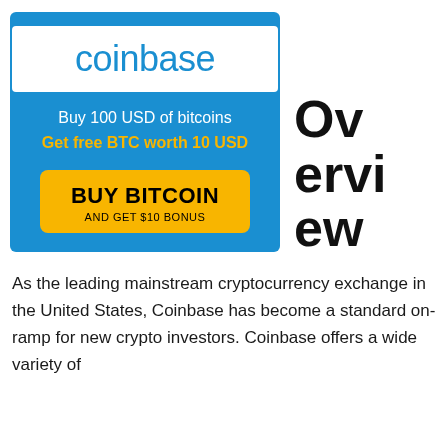[Figure (advertisement): Coinbase advertisement banner with blue background. Shows Coinbase logo in white box, text 'Buy 100 USD of bitcoins', yellow text 'Get free BTC worth 10 USD', and a yellow button reading 'BUY BITCOIN AND GET $10 BONUS'.]
Overview
As the leading mainstream cryptocurrency exchange in the United States, Coinbase has become a standard on-ramp for new crypto investors. Coinbase offers a wide variety of